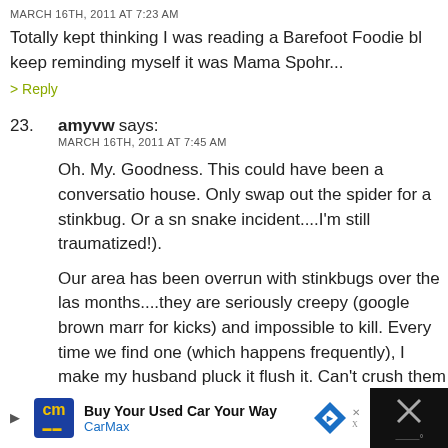MARCH 16TH, 2011 AT 7:23 AM
Totally kept thinking I was reading a Barefoot Foodie bl keep reminding myself it was Mama Spohr...
> Reply
23. amyvw says: MARCH 16TH, 2011 AT 7:45 AM
Oh. My. Goodness. This could have been a conversation house. Only swap out the spider for a stinkbug. Or a sn snake incident....I'm still traumatized!).
Our area has been overrun with stinkbugs over the last months....they are seriously creepy (google brown mar for kicks) and impossible to kill. Every time we find one (which happens frequently), I make my husband pluck i flush it. Can't crush them or vacuum them up b/c they w self-defense and make the house smell horrible.
I hate bugs.
[Figure (other): Advertisement bar at the bottom: CarMax 'Buy Your Used Car Your Way' ad with logo, blue diamond navigation icon, and a close/X button on dark background.]